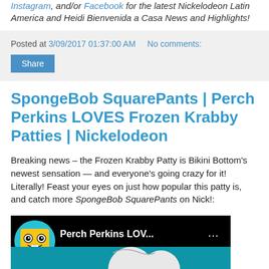Instagram, and/or Facebook for the latest Nickelodeon Latin America and Heidi Bienvenida a Casa News and Highlights!
Posted at 3/09/2017 01:37:00 AM   No comments:
Share
SpongeBob SquarePants | Perch Perkins LOVES Frozen Krabby Patties | Nickelodeon
Breaking news – the Frozen Krabby Patty is Bikini Bottom's newest sensation — and everyone's going crazy for it! Literally! Feast your eyes on just how popular this patty is, and catch more SpongeBob SquarePants on Nick!:
[Figure (screenshot): Video thumbnail showing SpongeBob SquarePants character with text 'Perch Perkins LOV...' on a teal/black background]